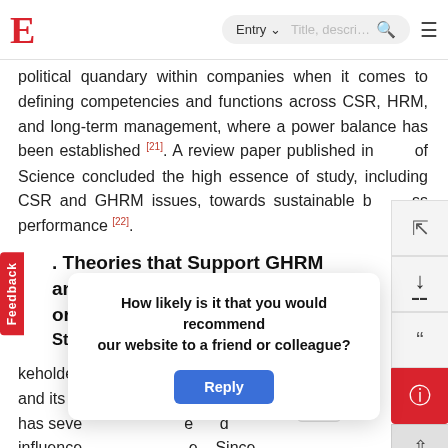E — Entry ▾  [search box]  🔍  ≡
political quandary within companies when it comes to defining competencies and functions across CSR, HRM, and long-term management, where a power balance has been established [21]. A review paper published in ... of Science concluded the high essence of study, including CSR and GHRM issues, towards sustainable b...ss performance [22].
. Theories that Support GHRM and orporate Social Responsibility
Stakeholder Theory
keholder theory of ... morality and its v... a...n has seve... e...d influence ... e. Since
How likely is it that you would recommend our website to a friend or colleague?
Reply